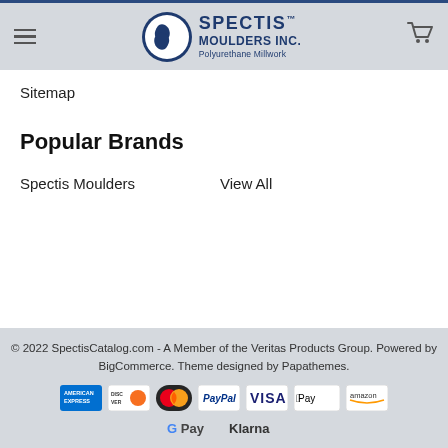Spectis Moulders Inc. — Polyurethane Millwork
Sitemap
Popular Brands
Spectis Moulders
View All
© 2022 SpectisCatalog.com - A Member of the Veritas Products Group. Powered by BigCommerce. Theme designed by Papathemes.